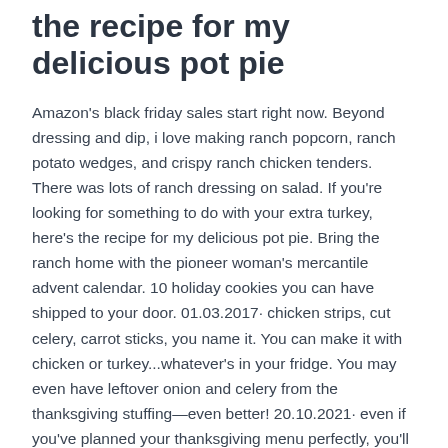the recipe for my delicious pot pie
Amazon's black friday sales start right now. Beyond dressing and dip, i love making ranch popcorn, ranch potato wedges, and crispy ranch chicken tenders. There was lots of ranch dressing on salad. If you're looking for something to do with your extra turkey, here's the recipe for my delicious pot pie. Bring the ranch home with the pioneer woman's mercantile advent calendar. 10 holiday cookies you can have shipped to your door. 01.03.2017· chicken strips, cut celery, carrot sticks, you name it. You can make it with chicken or turkey...whatever's in your fridge. You may even have leftover onion and celery from the thanksgiving stuffing—even better! 20.10.2021· even if you've planned your thanksgiving menu perfectly, you'll probably still have leftoveronce the big meal is over. Scopri ricette, idee per la casa, consigli di stile e altre idee da provare. Find carrot recipes, videos, and ideas from food